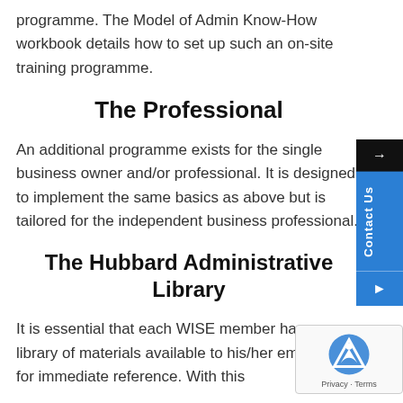programme. The Model of Admin Know-How workbook details how to set up such an on-site training programme.
The Professional
An additional programme exists for the single business owner and/or professional. It is designed to implement the same basics as above but is tailored for the independent business professional.
The Hubbard Administrative Library
It is essential that each WISE member have a library of materials available to his/her employees for immediate reference. With this